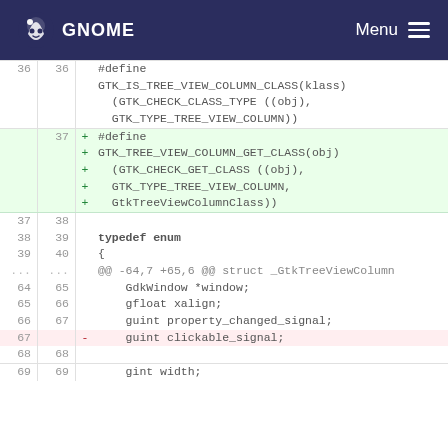GNOME  Menu
[Figure (screenshot): Code diff view showing changes to GTK tree view column header file, with line numbers, added lines highlighted in green and removed lines in red/pink.]